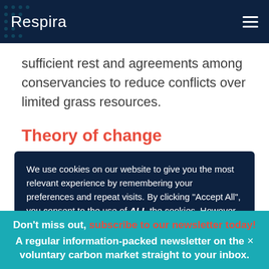Respira
sufficient rest and agreements among conservancies to reduce conflicts over limited grass resources.
Theory of change
We use cookies on our website to give you the most relevant experience by remembering your preferences and repeat visits. By clicking "Accept All", you consent to the use of ALL the cookies. However, you may visit "Cookie Settings" to provide a controlled consent.
Don't miss out, subscribe to our newsletter today! A regular information-packed newsletter on the voluntary carbon market straight to your inbox.